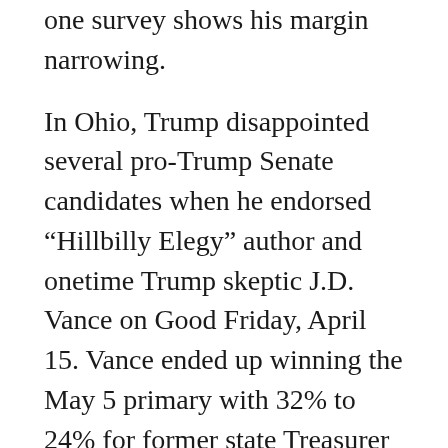one survey shows his margin narrowing.
In Ohio, Trump disappointed several pro-Trump Senate candidates when he endorsed “Hillbilly Elegy” author and onetime Trump skeptic J.D. Vance on Good Friday, April 15. Vance ended up winning the May 5 primary with 32% to 24% for former state Treasurer Josh Mandel and 23% for state Sen. Matt Dolan.
But was Trump’s nod pivotal? Vance jumped from 8% to 15% in previous polling to 23% in a Trafalgar poll conducted between April 13 and April 14, and he had similar numbers in later polls. Primary polling is not an exact science, but the numbers support the conclusion that Trump jumped on the bandwagon of a candidate who had performed well in debates about as well as the